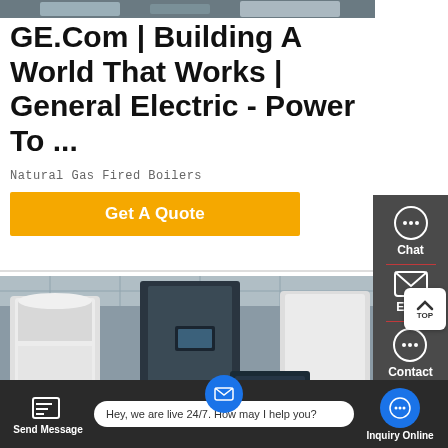[Figure (photo): Top image strip - industrial/boiler equipment photo (partial, cropped at top)]
GE.Com | Building A World That Works | General Electric - Power To ...
Natural Gas Fired Boilers
[Figure (other): Yellow 'Get A Quote' button]
[Figure (photo): Industrial boiler/equipment warehouse photo showing large white cylindrical boilers in a factory setting]
[Figure (other): Right sidebar with Chat, Email, and Contact icons on dark gray background]
[Figure (other): Bottom navigation bar with Send Message, live chat bubble saying 'Hey, we are live 24/7. How may I help you?', and Inquiry Online button]